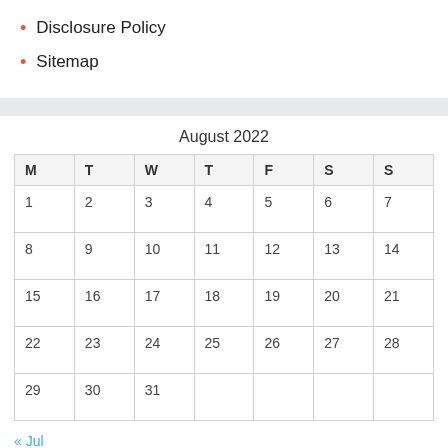Disclosure Policy
Sitemap
| M | T | W | T | F | S | S |
| --- | --- | --- | --- | --- | --- | --- |
| 1 | 2 | 3 | 4 | 5 | 6 | 7 |
| 8 | 9 | 10 | 11 | 12 | 13 | 14 |
| 15 | 16 | 17 | 18 | 19 | 20 | 21 |
| 22 | 23 | 24 | 25 | 26 | 27 | 28 |
| 29 | 30 | 31 |  |  |  |  |
« Jul